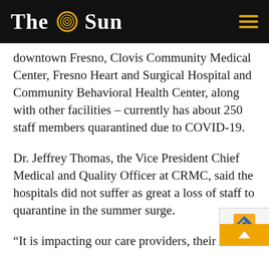The Sun
downtown Fresno, Clovis Community Medical Center, Fresno Heart and Surgical Hospital and Community Behavioral Health Center, along with other facilities – currently has about 250 staff members quarantined due to COVID-19.
Dr. Jeffrey Thomas, the Vice President Chief Medical and Quality Officer at CRMC, said the hospitals did not suffer as great a loss of staff to quarantine in the summer surge.
“It is impacting our care providers, their